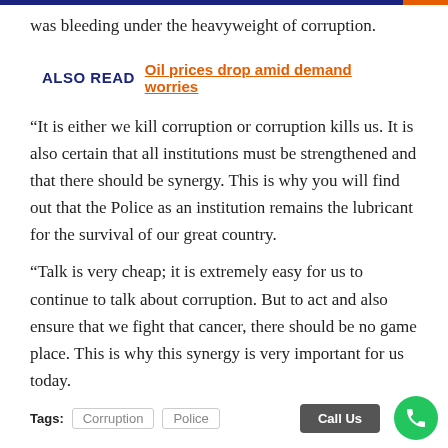was bleeding under the heavyweight of corruption.
ALSO READ  Oil prices drop amid demand worries
“It is either we kill corruption or corruption kills us. It is also certain that all institutions must be strengthened and that there should be synergy. This is why you will find out that the Police as an institution remains the lubricant for the survival of our great country.
“Talk is very cheap; it is extremely easy for us to continue to talk about corruption. But to act and also ensure that we fight that cancer, there should be no game place. This is why this synergy is very important for us today.
Tags: Corruption  Police  Call Us